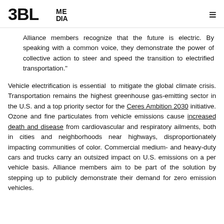3BL MEDIA
Alliance members recognize that the future is electric. By speaking with a common voice, they demonstrate the power of collective action to steer and speed the transition to electrified transportation."
Vehicle electrification is essential  to mitigate the global climate crisis. Transportation remains the highest greenhouse gas-emitting sector in the U.S. and a top priority sector for the Ceres Ambition 2030 initiative. Ozone and fine particulates from vehicle emissions cause increased death and disease from cardiovascular and respiratory ailments, both in cities and neighborhoods near highways, disproportionately impacting communities of color. Commercial medium- and heavy-duty cars and trucks carry an outsized impact on U.S. emissions on a per vehicle basis. Alliance members aim to be part of the solution by stepping up to publicly demonstrate their demand for zero emission vehicles.